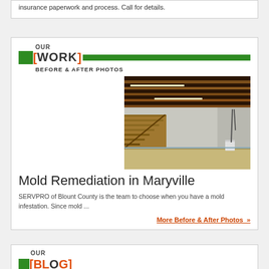insurance paperwork and process. Call for details.
OUR [WORK] BEFORE & AFTER PHOTOS
[Figure (photo): Basement interior after mold remediation — visible ceiling joists/beams, fluorescent light strips, concrete block walls painted white/grey, sandy floor, a white bucket near the wall, stair stringers visible in background.]
Mold Remediation in Maryville
SERVPRO of Blount County is the team to choose when you have a mold infestation. Since mold ...
More Before & After Photos »
OUR [BL...